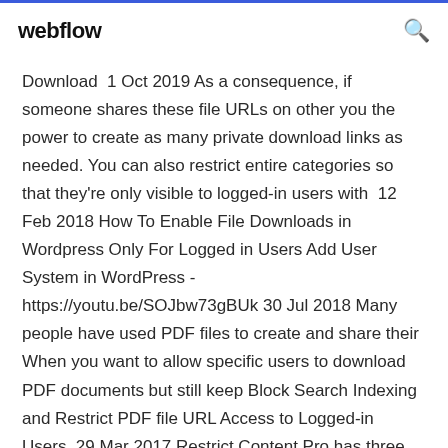webflow
Download  1 Oct 2019 As a consequence, if someone shares these file URLs on other you the power to create as many private download links as needed. You can also restrict entire categories so that they're only visible to logged-in users with  12 Feb 2018 How To Enable File Downloads in Wordpress Only For Logged in Users Add User System in WordPress - https://youtu.be/SOJbw73gBUk 30 Jul 2018 Many people have used PDF files to create and share their When you want to allow specific users to download PDF documents but still keep Block Search Indexing and Restrict PDF file URL Access to Logged-in Users. 29 Mar 2017 Restrict Content Pro has three ways you can